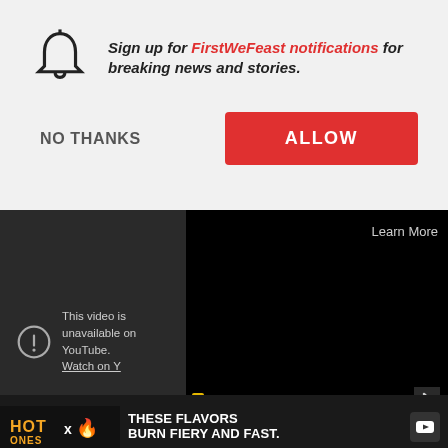Sign up for FirstWeFeast notifications for breaking news and stories.
NO THANKS
ALLOW
Learn More
This video is unavailable on YouTube. Watch on YouTube.
[Figure (screenshot): Advertisement banner: Hot Ones x logo with text 'THESE FLAVORS BURN FIERY AND FAST.']